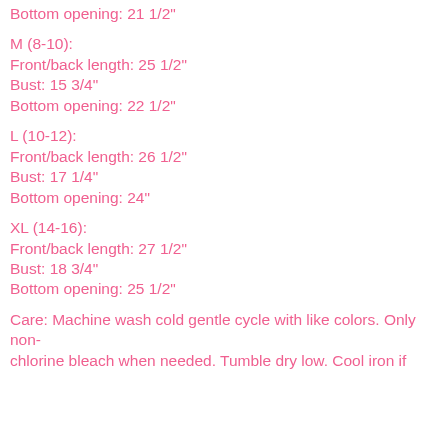Bottom opening: 21 1/2"
M (8-10):
Front/back length: 25 1/2"
Bust: 15 3/4"
Bottom opening: 22 1/2"
L (10-12):
Front/back length: 26 1/2"
Bust: 17 1/4"
Bottom opening: 24"
XL (14-16):
Front/back length: 27 1/2"
Bust: 18 3/4"
Bottom opening: 25 1/2"
Care: Machine wash cold gentle cycle with like colors. Only non-chlorine bleach when needed. Tumble dry low. Cool iron if